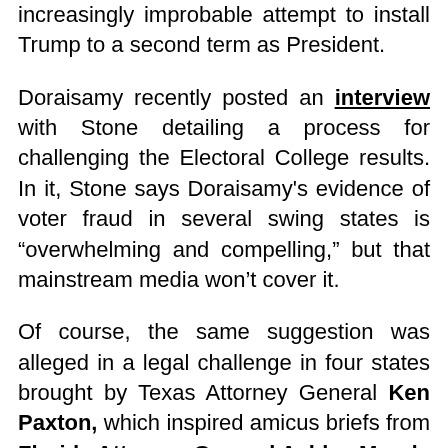increasingly improbable attempt to install Trump to a second term as President.
Doraisamy recently posted an interview with Stone detailing a process for challenging the Electoral College results. In it, Stone says Doraisamy's evidence of voter fraud in several swing states is “overwhelming and compelling,” but that mainstream media won’t cover it.
Of course, the same suggestion was alleged in a legal challenge in four states brought by Texas Attorney General Ken Paxton, which inspired amicus briefs from Florida Attorney General Ashley Moody and from most Republicans representing Florida in the House. The Supreme Court rejected the suit.